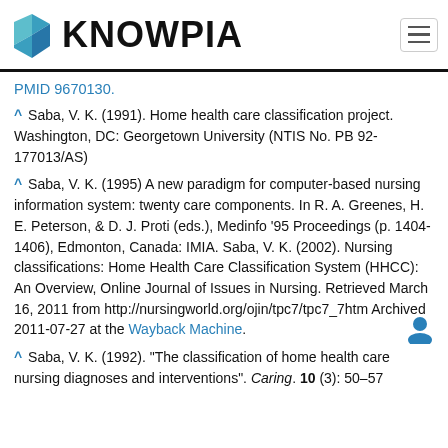KNOWPIA
PMID 9670130.
^ Saba, V. K. (1991). Home health care classification project. Washington, DC: Georgetown University (NTIS No. PB 92-177013/AS)
^ Saba, V. K. (1995) A new paradigm for computer-based nursing information system: twenty care components. In R. A. Greenes, H. E. Peterson, & D. J. Proti (eds.), Medinfo '95 Proceedings (p. 1404-1406), Edmonton, Canada: IMIA. Saba, V. K. (2002). Nursing classifications: Home Health Care Classification System (HHCC): An Overview, Online Journal of Issues in Nursing. Retrieved March 16, 2011 from http://nursingworld.org/ojin/tpc7/tpc7_7htm Archived 2011-07-27 at the Wayback Machine.
^ Saba, V. K. (1992). "The classification of home health care nursing diagnoses and interventions". Caring. 10 (3): 50–57